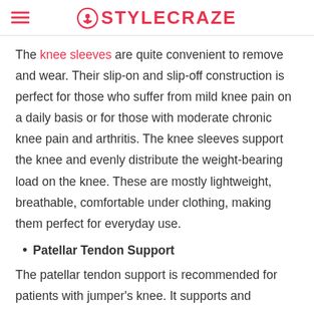STYLECRAZE
The knee sleeves are quite convenient to remove and wear. Their slip-on and slip-off construction is perfect for those who suffer from mild knee pain on a daily basis or for those with moderate chronic knee pain and arthritis. The knee sleeves support the knee and evenly distribute the weight-bearing load on the knee. These are mostly lightweight, breathable, comfortable under clothing, making them perfect for everyday use.
Patellar Tendon Support
The patellar tendon support is recommended for patients with jumper's knee. It supports and